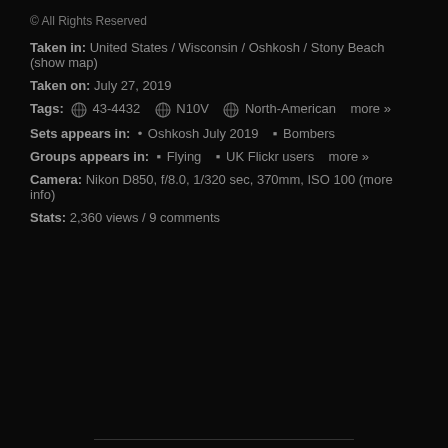© All Rights Reserved
Taken in: United States / Wisconsin / Oshkosh / Stony Beach  (show map)
Taken on: July 27, 2019
Tags:  43-4432   N10V   North-American   more »
Sets appears in:  • Oshkosh July 2019   ▪ Bombers
Groups appears in:  ▪ Flying   ▪ UK Flickr users   more »
Camera: Nikon D850, f/8.0, 1/320 sec, 370mm, ISO 100 (more info)
Stats: 2,360 views / 9 comments